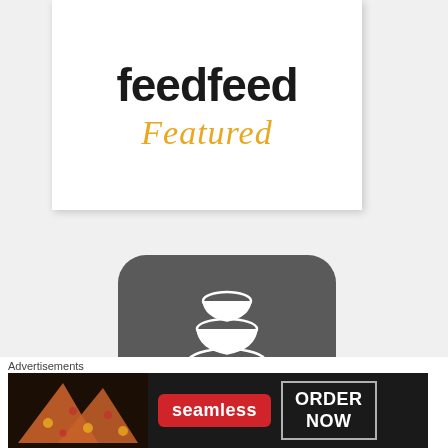[Figure (logo): feedfeed Featured logo — black bold text 'feedfeed' with golden italic cursive 'Featured' below]
[Figure (logo): foodgawker my gallery app icon — dark grey rounded square with white stacked bowls icon, white text 'foodgawker' and italic 'my gallery']
Advertisements
[Figure (screenshot): Seamless food delivery advertisement banner with pizza image, red 'seamless' pill and 'ORDER NOW' button]